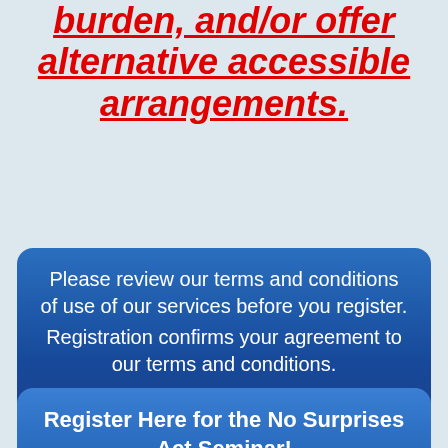Seminar or would result in an undue burden, and/or offer alternative accessible arrangements.
Please review our terms and conditions of use of our services before you register. Registration confirms your agreement to our terms and conditions. CLICK HERE.
Register Here for the No Surprises Act Seminar!